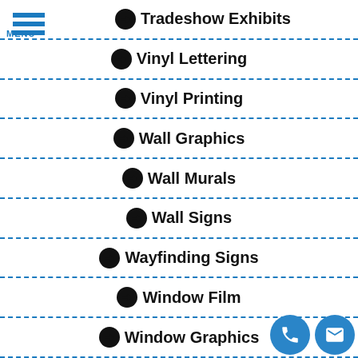[Figure (logo): Hamburger menu icon with three blue horizontal bars and MENU label below]
Tradeshow Exhibits
Vinyl Lettering
Vinyl Printing
Wall Graphics
Wall Murals
Wall Signs
Wayfinding Signs
Window Film
Window Graphics
[Figure (infographic): Two circular contact buttons: phone icon and email/envelope icon, positioned bottom right]